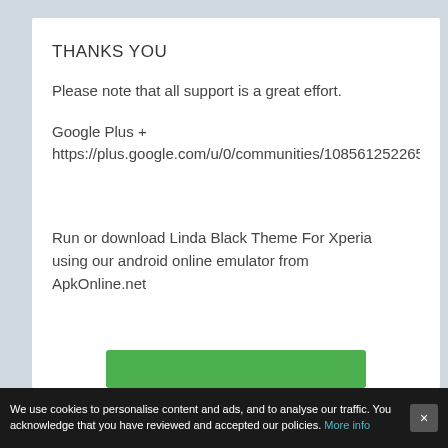THANKS YOU
Please note that all support is a great effort.
Google Plus +
https://plus.google.com/u/0/communities/108561252265960
Run or download Linda Black Theme For Xperia using our android online emulator from ApkOnline.net
We use cookies to personalise content and ads, and to analyse our traffic. You acknowledge that you have reviewed and accepted our policies. More info ×